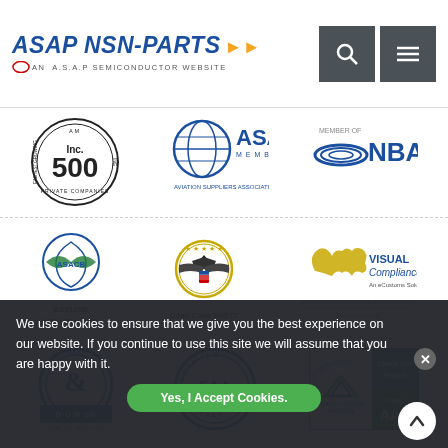[Figure (logo): ASAP NSN-Parts logo with airplane icon and 'AN A.S.A.P SEMICONDUCTOR WEBSITE' tagline]
[Figure (logo): Inc. 500 Fastest Growing Private Companies badge]
[Figure (logo): ASA Member Aviation Suppliers Association logo]
[Figure (logo): NBAA Member logo]
[Figure (logo): ASACB AS9120B ISO 9001:2015 certification logo]
[Figure (logo): Cage Code 6RE77 US government eagle seal]
[Figure (logo): Visual Compliance An eCustoms Solution logo with eagle]
[Figure (logo): Dun & Bradstreet D-U-N-S Registered badge DUNS NO. 069876325]
[Figure (logo): FAA Certified Company AC-0056B seal]
[Figure (logo): Business Consumer Alliance Proud Member AAA Rating badge with Check Our Report]
We use cookies to ensure that we give you the best experience on our website. If you continue to use this site we will assume that you are happy with it.
Yes, I Accept Cookies.